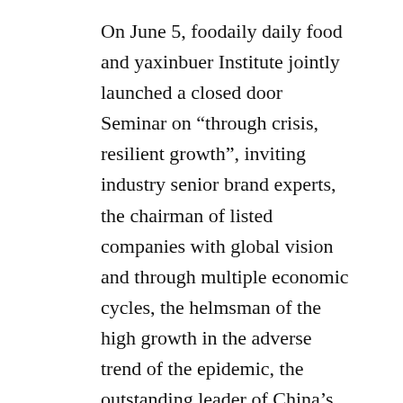On June 5, foodaily daily food and yaxinbuer Institute jointly launched a closed door Seminar on “through crisis, resilient growth”, inviting industry senior brand experts, the chairman of listed companies with global vision and through multiple economic cycles, the helmsman of the high growth in the adverse trend of the epidemic, the outstanding leader of China’s cutting-edge brands and decision makers focusing on investment in the consumer sector to jointly discuss the new normal of the crisis, Countermeasures for the food and beverage industry.
From the perspective of the comprehensive forum, specifically, enterprises can make